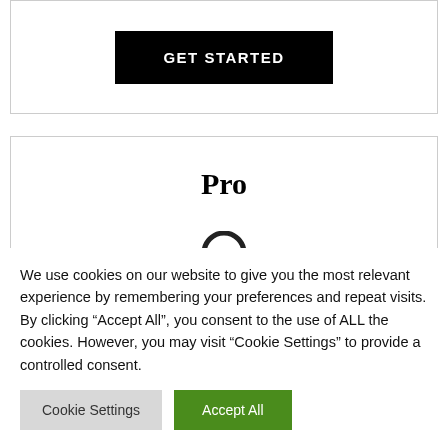[Figure (screenshot): A card section with a black 'GET STARTED' button centered inside a white card with a light gray border.]
Pro
[Figure (illustration): Partial arc/circular icon visible at the bottom of the Pro card.]
We use cookies on our website to give you the most relevant experience by remembering your preferences and repeat visits. By clicking “Accept All”, you consent to the use of ALL the cookies. However, you may visit “Cookie Settings” to provide a controlled consent.
Cookie Settings
Accept All